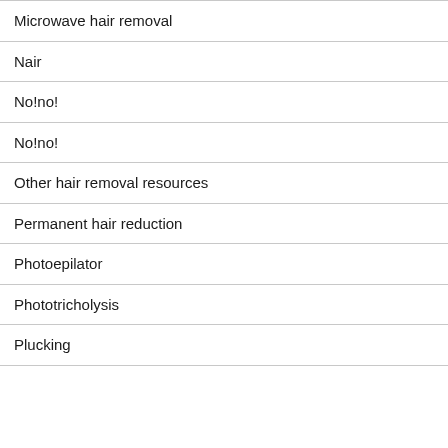Microwave hair removal
Nair
No!no!
No!no!
Other hair removal resources
Permanent hair reduction
Photoepilator
Phototricholysis
Plucking